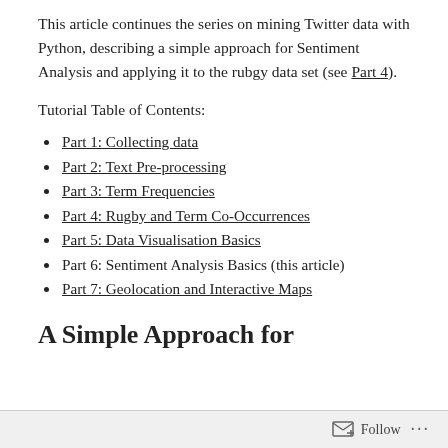This article continues the series on mining Twitter data with Python, describing a simple approach for Sentiment Analysis and applying it to the rubgy data set (see Part 4).
Tutorial Table of Contents:
Part 1: Collecting data
Part 2: Text Pre-processing
Part 3: Term Frequencies
Part 4: Rugby and Term Co-Occurrences
Part 5: Data Visualisation Basics
Part 6: Sentiment Analysis Basics (this article)
Part 7: Geolocation and Interactive Maps
A Simple Approach for